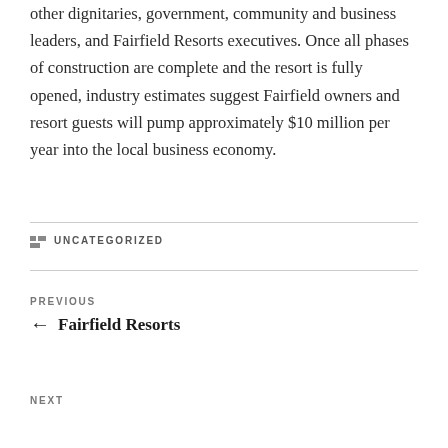other dignitaries, government, community and business leaders, and Fairfield Resorts executives. Once all phases of construction are complete and the resort is fully opened, industry estimates suggest Fairfield owners and resort guests will pump approximately $10 million per year into the local business economy.
CATEGORIES: UNCATEGORIZED
PREVIOUS ← Fairfield Resorts
NEXT